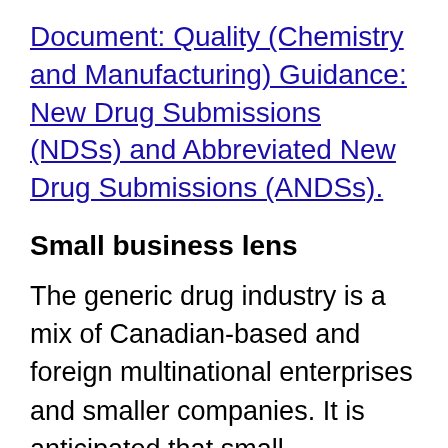Document: Quality (Chemistry and Manufacturing) Guidance: New Drug Submissions (NDSs) and Abbreviated New Drug Submissions (ANDSs).
Small business lens
The generic drug industry is a mix of Canadian-based and foreign multinational enterprises and smaller companies. It is anticipated that small businesses would benefit from the greater certainty provided by the proposal in the same way as the rest of the industry.
(Cons from Small Bus...